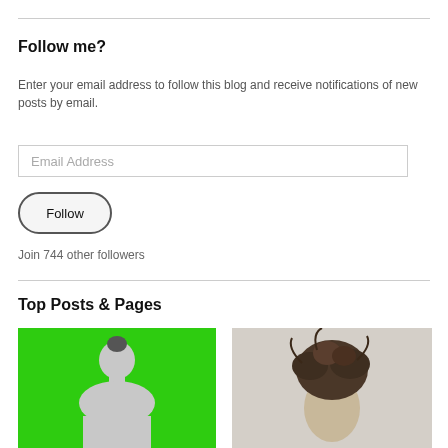Follow me?
Enter your email address to follow this blog and receive notifications of new posts by email.
Email Address (input field)
Follow (button)
Join 744 other followers
Top Posts & Pages
[Figure (photo): Photo of person viewed from behind with green background]
[Figure (photo): Black and white photo of person with messy updo hair]